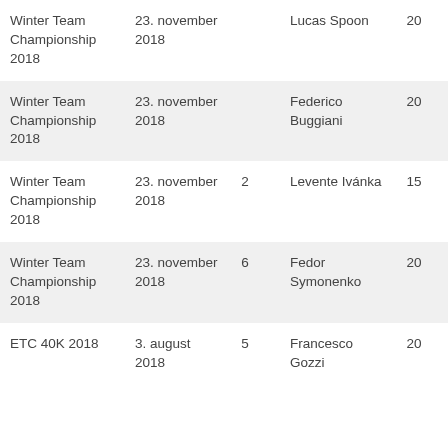| Winter Team Championship 2018 | 23. november 2018 |  | Lucas Spoon | 20 |
| Winter Team Championship 2018 | 23. november 2018 |  | Federico Buggiani | 20 |
| Winter Team Championship 2018 | 23. november 2018 | 2 | Levente Ivánka | 15 |
| Winter Team Championship 2018 | 23. november 2018 | 6 | Fedor Symonenko | 20 |
| ETC 40K 2018 | 3. august 2018 | 5 | Francesco Gozzi | 20 |